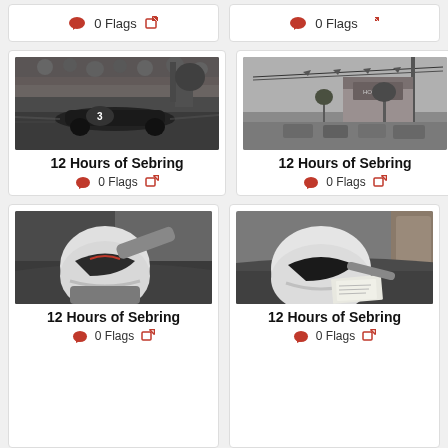[Figure (screenshot): Top partial cards showing 0 Flags and edit icons for two items (partially visible)]
[Figure (photo): Black and white photo of a racing car (number 3) on track at 12 Hours of Sebring]
12 Hours of Sebring
0 Flags
[Figure (photo): Black and white photo of a street scene with buildings and cars at 12 Hours of Sebring]
12 Hours of Sebring
0 Flags
[Figure (photo): Black and white photo of a person in a white racing helmet leaning over a car at 12 Hours of Sebring]
12 Hours of Sebring
0 Flags
[Figure (photo): Black and white photo of a person in a white racing helmet examining a car at 12 Hours of Sebring]
12 Hours of Sebring
0 Flags